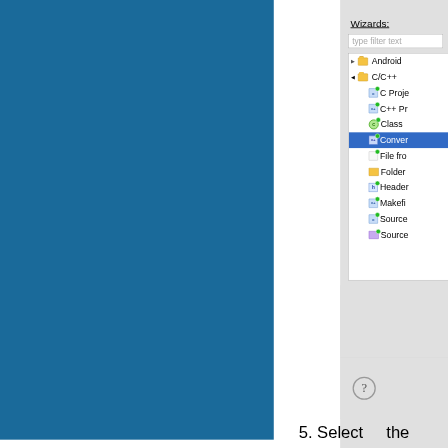[Figure (screenshot): Eclipse IDE 'New' dialog showing wizard tree with Wizards label, filter text box, and tree listing Android, C/C++ (expanded with C Project, C++ Project, Class, Convert..., File from, Folder, Header, Makefile, Source, Source entries). The 'Convert...' item is highlighted in blue. A help icon (?) is at the bottom. The left side shows a teal/blue panel (screenshot partial).]
5. Select   the